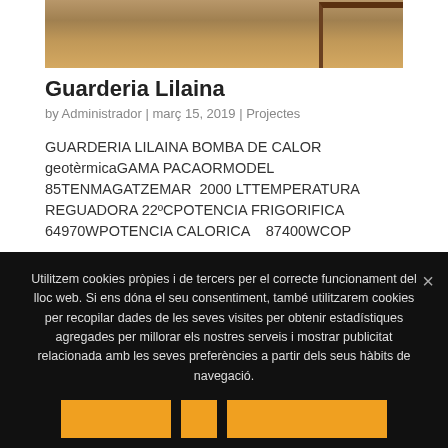[Figure (photo): Partial view of a sandy/terracotta floor area with wooden railing visible in the upper right corner]
Guarderia Lilaina
by Administrador | març 15, 2019 | Projectes
GUARDERIA LILAINA BOMBA DE CALOR geotèrmicaGAMA PACAORMODEL 85TENMAGATZEMAR 2000 LTTEMPERATURA REGUADORA 22ºCPOTENCIA FRIGORIFICA 64970WPOTENCIA CALORICA   87400WCOP
Utilitzem cookies pròpies i de tercers per el correcte funcionament del lloc web. Si ens dóna el seu consentiment, també utilitzarem cookies per recopilar dades de les seves visites per obtenir estadístiques agregades per millorar els nostres serveis i mostrar publicitat relacionada amb les seves preferències a partir dels seus hàbits de navegació.